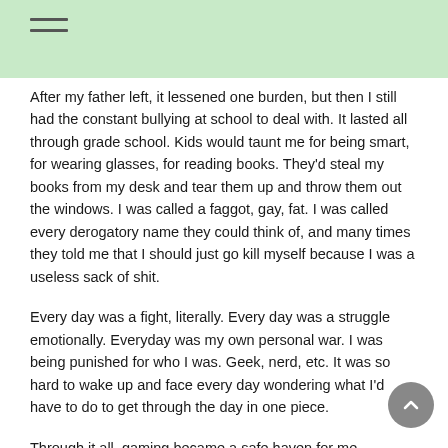After my father left, it lessened one burden, but then I still had the constant bullying at school to deal with. It lasted all through grade school. Kids would taunt me for being smart, for wearing glasses, for reading books. They'd steal my books from my desk and tear them up and throw them out the windows. I was called a faggot, gay, fat. I was called every derogatory name they could think of, and many times they told me that I should just go kill myself because I was a useless sack of shit.
Every day was a fight, literally. Every day was a struggle emotionally. Everyday was my own personal war. I was being punished for who I was. Geek, nerd, etc. It was so hard to wake up and face every day wondering what I'd have to do to get through the day in one piece.
Through it all, gaming became a safe haven for me. Dungeons and Dragons let me be the hero that could save the world, video games distracted me and let me absorb myself in something other than my daily life. It wasn't that I couldn't separate fantasy from reality, it was just that my reality sucked. Everyday I would come home, black eyes, scrapes and bruises from getting picked on and fighting back. It got to the point where as much as I loved my family